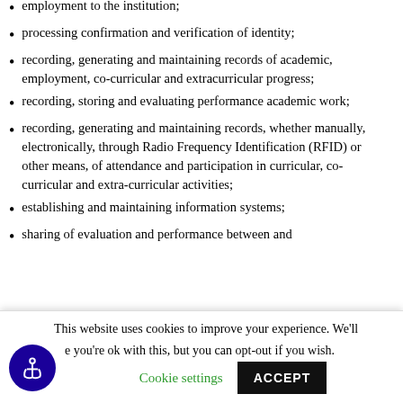employment to the institution;
processing confirmation and verification of identity;
recording, generating and maintaining records of academic, employment, co-curricular and extracurricular progress;
recording, storing and evaluating performance academic work;
recording, generating and maintaining records, whether manually, electronically, through Radio Frequency Identification (RFID) or other means, of attendance and participation in curricular, co-curricular and extra-curricular activities;
establishing and maintaining information systems;
sharing of evaluation and performance between and
This website uses cookies to improve your experience. We'll assume you're ok with this, but you can opt-out if you wish. Cookie settings ACCEPT